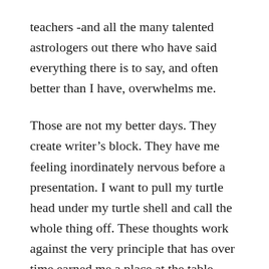teachers -and all the many talented astrologers out there who have said everything there is to say, and often better than I have, overwhelms me.
Those are not my better days. They create writer's block. They have me feeling inordinately nervous before a presentation. I want to pull my turtle head under my turtle shell and call the whole thing off. These thoughts work against the very principle that has over time earned me a place at the table, that feeling of allowing passion, curiosity and excitement to lead me where it may. Knowing I was not ready, but also that I'd never be truly ready or confident or secure enough. I trusted